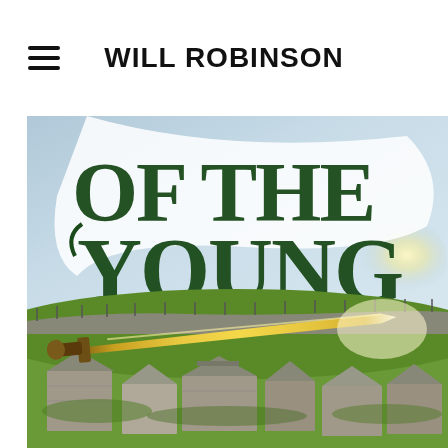WILL ROBINSON
[Figure (illustration): Book cover cropped image showing large decorative text 'OF THE YOUNG' in dark green serif font with a golden sword across the middle, and a landscape scene below with stone buildings, green hills, and fence posts under a dramatic sky.]